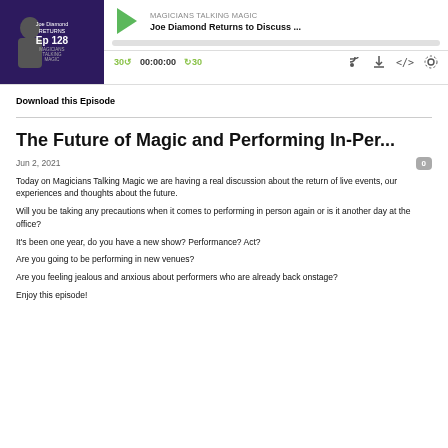[Figure (screenshot): Podcast player widget showing episode 128 of Magicians Talking Magic with Joe Diamond, play button, progress bar, time controls showing 00:00:00, skip forward/back 30 seconds, and icons for RSS, download, embed, and settings.]
Download this Episode
The Future of Magic and Performing In-Per...
Jun 2, 2021
Today on Magicians Talking Magic we are having a real discussion about the return of live events, our experiences and thoughts about the future.
Will you be taking any precautions when it comes to performing in person again or is it another day at the office?
It's been one year, do you have a new show? Performance? Act?
Are you going to be performing in new venues?
Are you feeling jealous and anxious about performers who are already back onstage?
Enjoy this episode!